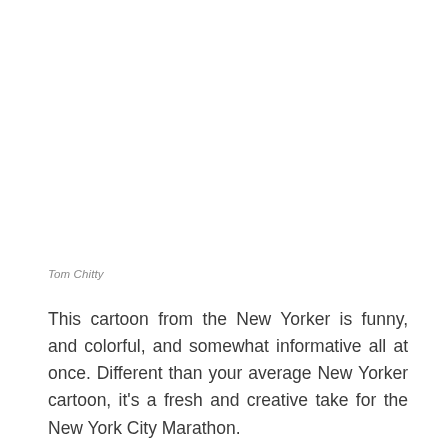Tom Chitty
This cartoon from the New Yorker is funny, and colorful, and somewhat informative all at once. Different than your average New Yorker cartoon, it’s a fresh and creative take for the New York City Marathon.